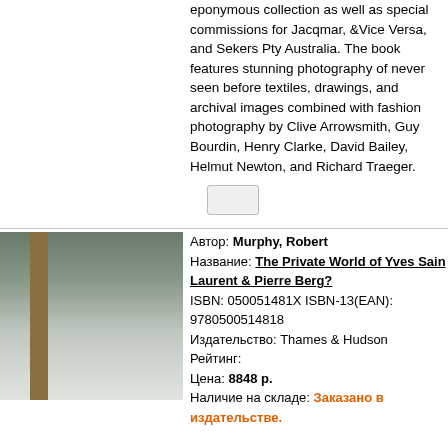eponymous collection as well as special commissions for Jacqmar, &Vice Versa, and Sekers Pty Australia. The book features stunning photography of never seen before textiles, drawings, and archival images combined with fashion photography by Clive Arrowsmith, Guy Bourdin, Henry Clarke, David Bailey, Helmut Newton, and Richard Traeger.
Автор: Murphy, Robert
Название: The Private World of Yves Saint Laurent & Pierre Berg?
ISBN: 050051481X ISBN-13(EAN): 9780500514818
Издательство: Thames & Hudson
Рейтинг:
Цена: 8848 р.
Наличие на складе: Заказано в издательстве.
[Figure (photo): Book cover image with dark green/grey tones and a brown spine]
Описание: The star pieces from fashion designer Yves Saint Laurent`s art collection includes works by Cezanne, Picasso, Mondrian and Matisse. Yves Saint Laurent and Pierre Berge amassed the collection together before the designers death in June